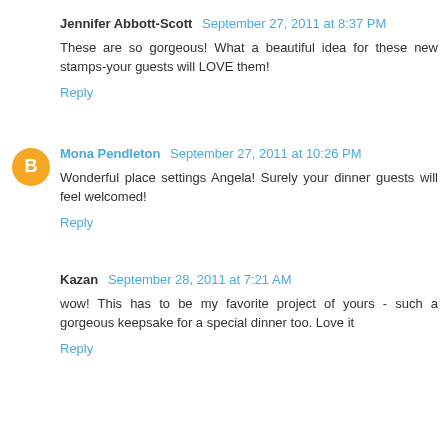Jennifer Abbott-Scott  September 27, 2011 at 8:37 PM
These are so gorgeous! What a beautiful idea for these new stamps-your guests will LOVE them!
Reply
Mona Pendleton  September 27, 2011 at 10:26 PM
Wonderful place settings Angela! Surely your dinner guests will feel welcomed!
Reply
Kazan  September 28, 2011 at 7:21 AM
wow! This has to be my favorite project of yours - such a gorgeous keepsake for a special dinner too. Love it
Reply